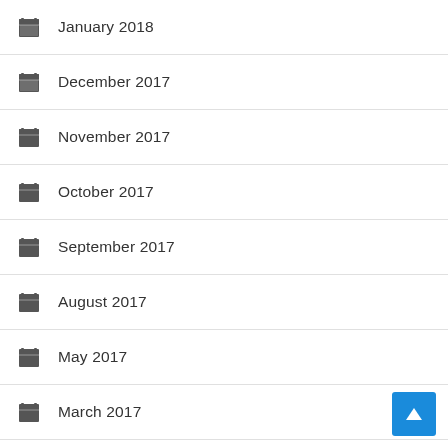January 2018
December 2017
November 2017
October 2017
September 2017
August 2017
May 2017
March 2017
January 2017
November 2016
October 2016
September 2016
June 2016